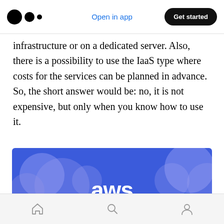Open in app | Get started
infrastructure or on a dedicated server. Also, there is a possibility to use the IaaS type where costs for the services can be planned in advance. So, the short answer would be: no, it is not expensive, but only when you know how to use it.
[Figure (illustration): AWS logo on blue background with decorative cloud bubble shapes in lighter blue/purple tones]
Navigation bar with home, search, and profile icons